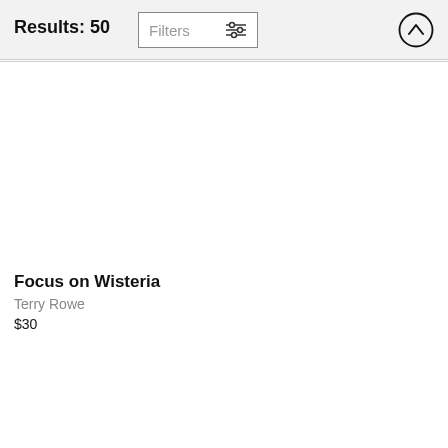Results: 50
Filters
Focus on Wisteria
Terry Rowe
$30